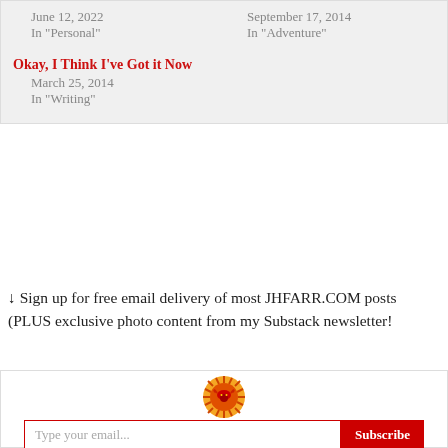September 17, 2014
In "Adventure"
Okay, I Think I've Got it Now
March 25, 2014
In "Writing"
↓ Sign up for free email delivery of most JHFARR.COM posts
(PLUS exclusive photo content from my Substack newsletter!
[Figure (logo): Circular logo with bull/bison skull and radiating sun rays in red, orange, and yellow colors]
Type your email...
Subscribe